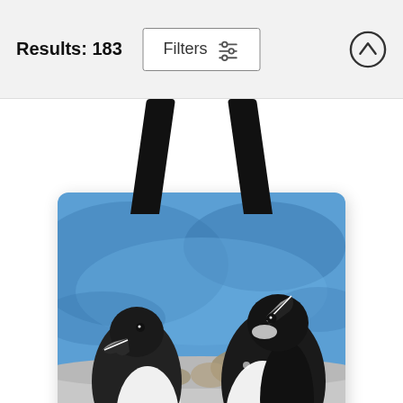Results: 183
[Figure (other): Filters button with sliders icon and an up-arrow circle button in a toolbar]
[Figure (photo): A tote bag printed with a photo of two Razorbill seabirds facing each other with open beaks against a blue ocean background and rocky shore]